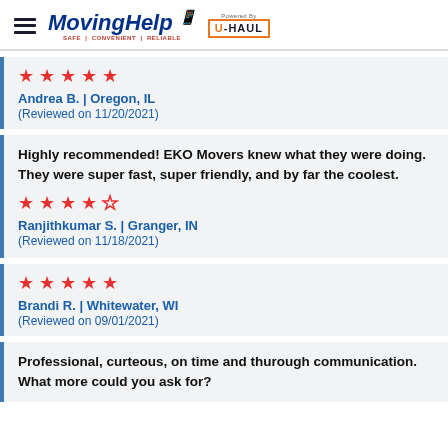[Figure (logo): MovingHelp logo powered by U-HAUL with hamburger menu icon]
★★★★★
Andrea B. | Oregon, IL
(Reviewed on 11/20/2021)
Highly recommended! EKO Movers knew what they were doing. They were super fast, super friendly, and by far the coolest.
★★★★☆
Ranjithkumar S. | Granger, IN
(Reviewed on 11/18/2021)
★★★★★
Brandi R. | Whitewater, WI
(Reviewed on 09/01/2021)
Professional, curteous, on time and thurough communication. What more could you ask for?